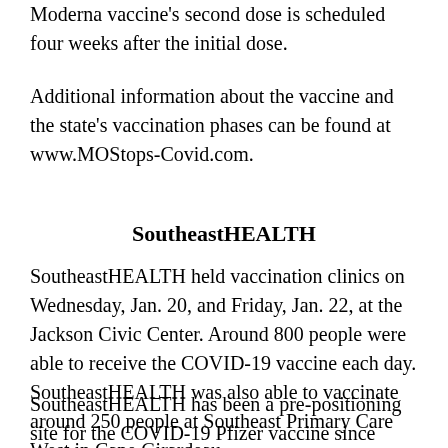Moderna vaccine's second dose is scheduled four weeks after the initial dose.
Additional information about the vaccine and the state's vaccination phases can be found at www.MOStops-Covid.com.
SoutheastHEALTH
SoutheastHEALTH held vaccination clinics on Wednesday, Jan. 20, and Friday, Jan. 22, at the Jackson Civic Center. Around 800 people were able to receive the COVID-19 vaccine each day. SoutheastHEALTH was also able to vaccinate around 250 people at Southeast Primary Care West in Cape Girardeau.
SoutheastHEALTH has been a pre-positioning site for the COVID-19 Pfizer vaccine since mid-December, and over the past two months has deployed over 4,000 doses of the vaccine throughout southeast Missouri.